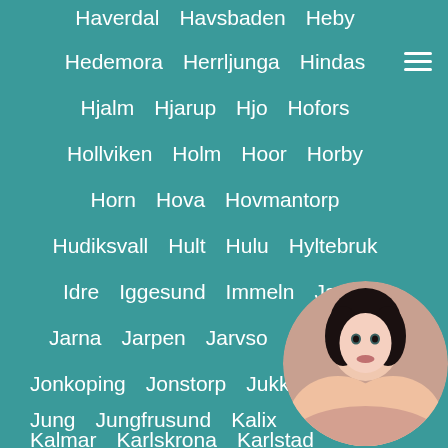Haverdal  Havsbaden  Heby
Hedemora  Herrljunga  Hindas
Hjalm  Hjarup  Hjo  Hofors
Hollviken  Holm  Hoor  Horby
Horn  Hova  Hovmantorp
Hudiksvall  Hult  Hulu  Hyltebruk
Idre  Iggesund  Immeln  Jarbo
Jarna  Jarpen  Jarvso  Jokkmokk
Jonkoping  Jonstorp  Jukk...
Jung  Jungfrusund  Kalix
Kalmar  Karlskrona  Karlstad
[Figure (photo): Circular avatar photo of a woman in the bottom right corner]